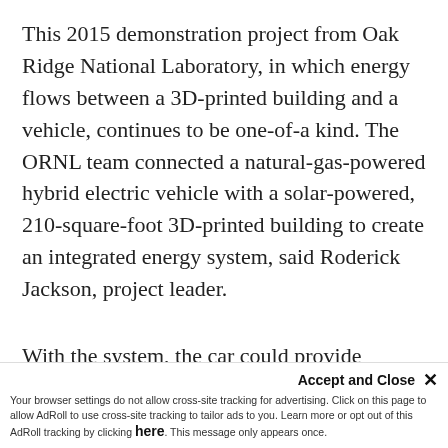This 2015 demonstration project from Oak Ridge National Laboratory, in which energy flows between a 3D-printed building and a vehicle, continues to be one-of-a kind. The ORNL team connected a natural-gas-powered hybrid electric vehicle with a solar-powered, 210-square-foot 3D-printed building to create an integrated energy system, said Roderick Jackson, project leader.
With the system, the car could provide
supplemental power to the ho[me]
[and building in both directions with wirele]ss
Accept and Close ✕ Your browser settings do not allow cross-site tracking for advertising. Click on this page to allow AdRoll to use cross-site tracking to tailor ads to you. Learn more or opt out of this AdRoll tracking by clicking here. This message only appears once.